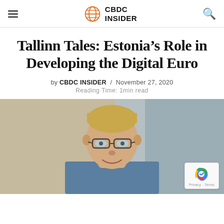CBDC INSIDER
Tallinn Tales: Estonia’s Role in Developing the Digital Euro
by CBDC INSIDER / November 27, 2020
Reading Time: 1min read
[Figure (photo): Headshot of a man with short blond hair, wearing glasses and a dress shirt, smiling, against a blurred office background.]